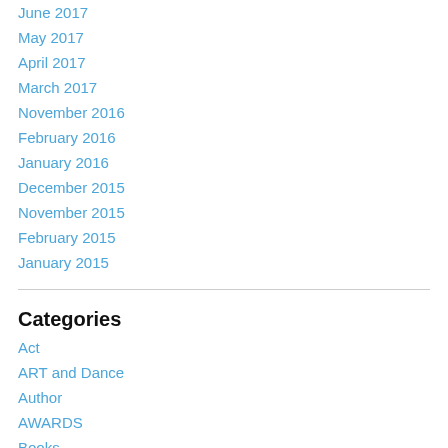June 2017
May 2017
April 2017
March 2017
November 2016
February 2016
January 2016
December 2015
November 2015
February 2015
January 2015
Categories
Act
ART and Dance
Author
AWARDS
Books